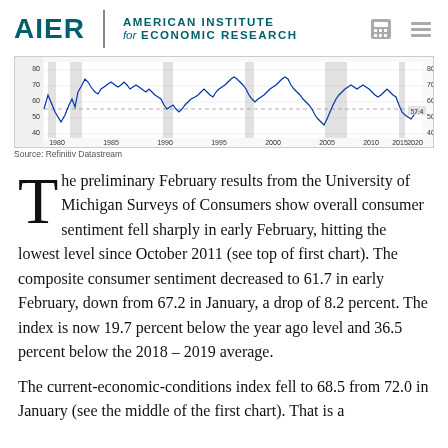AIER | AMERICAN INSTITUTE for ECONOMIC RESEARCH
[Figure (continuous-plot): Line chart showing University of Michigan consumer sentiment index from approximately 1980 to 2023. The line fluctuates between about 40 and 85, with shaded recession bands. A horizontal dashed reference line appears around 57-60. The most recent value is labeled 57.4. Y-axis shows values 40, 50, 60, 70, 80. X-axis shows years 1980, 1985, 1990, 1995, 2000, 2005, 2010, 2015, 2020.]
Source: Refinitiv Datastream
The preliminary February results from the University of Michigan Surveys of Consumers show overall consumer sentiment fell sharply in early February, hitting the lowest level since October 2011 (see top of first chart). The composite consumer sentiment decreased to 61.7 in early February, down from 67.2 in January, a drop of 8.2 percent. The index is now 19.7 percent below the year ago level and 36.5 percent below the 2018 – 2019 average.
The current-economic-conditions index fell to 68.5 from 72.0 in January (see the middle of the first chart). That is a